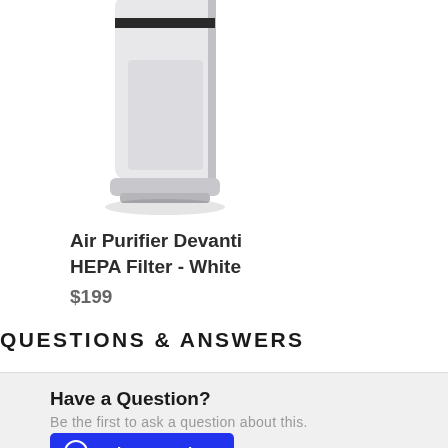[Figure (photo): Air purifier product image - white tower-style air purifier with black accent, shown partially cropped at top]
Air Purifier Devanti HEPA Filter - White
$199
QUESTIONS & ANSWERS
Have a Question?
Be the first to ask a question about this.
Ask a Question